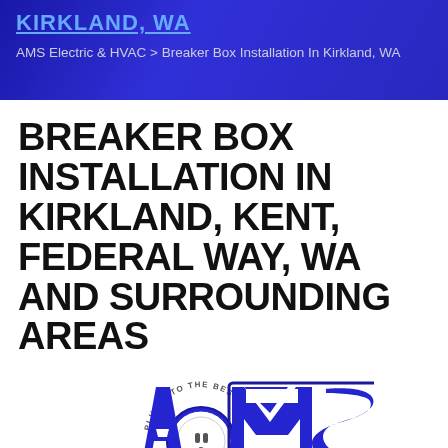KIRKLAND, WA
AMS Electric & HVAC > Breaker Box Installation In Kirkland, WA
BREAKER BOX INSTALLATION IN KIRKLAND, KENT, FEDERAL WAY, WA AND SURROUNDING AREAS
[Figure (logo): AMS Electric & HVAC logo featuring large blue block letters AMS with a circular outlet icon inside the A, arc text reading PLUG INTO THE BEST!, and tagline ELECTRIC · HEATING · COOLING below]